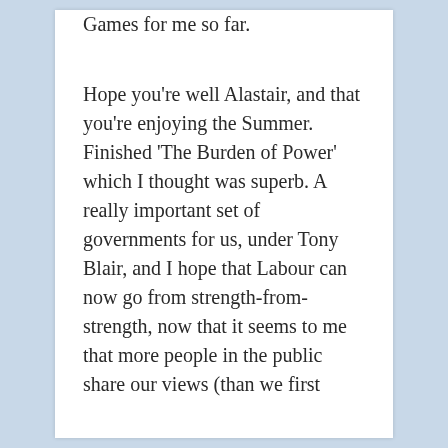Games for me so far.
Hope you're well Alastair, and that you're enjoying the Summer. Finished 'The Burden of Power' which I thought was superb. A really important set of governments for us, under Tony Blair, and I hope that Labour can now go from strength-from-strength, now that it seems to me that more people in the public share our views (than we first